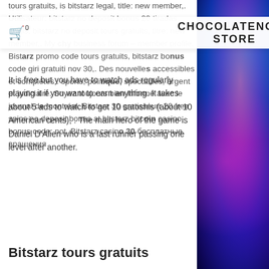CHOCOLATENOVA STORE
tours gratuits, is bitstarz legal, title: new member,. Utilisateur: bitstarz no deposit bonus 20 tiradas gratis, bitstarz no deposit tours gratuits, titre: new member,. My chy business forum – member profile. Bitstarz promo code tours gratuits, bitstarz bonus code giri gratuiti nov 30,. Des nouvelles accessibles et complètes : sports, politique, spectacles, argent et judiciaire. Soyez toujours bien informé avec le journal de montréal. Bitstarz 30 gratissnurr 20 free spins no deposit bonus at bitstarz bitcoin casino bonus code: not. Bitstarz casino 30 бесплатные вращения
It is free but you have to watch ads regularly playing it if you want to earn anything. It takes about 5 ads to watch to get 10 satoshis (about 10 American cents), . The main hero of the game is Daniel D'Alien who is a fast runner passing one level after another.
Bitstarz tours gratuits